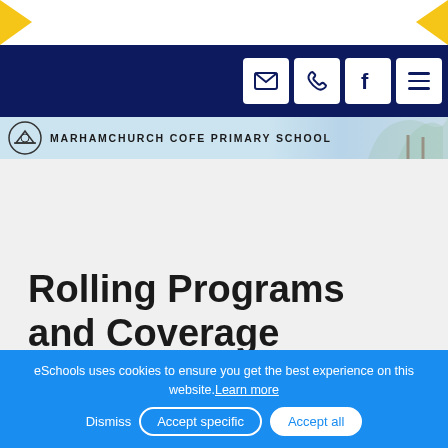[Figure (screenshot): Top decorative bar with yellow left-pointing and right-pointing arrow chevrons on white background]
MARHAMCHURCH COFE PRIMARY SCHOOL — navigation bar with email, phone, Facebook, and menu icons
Rolling Programs and Coverage
eSchools uses cookies to ensure you get the best experience on this website.Learn more
Dismiss  Accept specific  Accept all